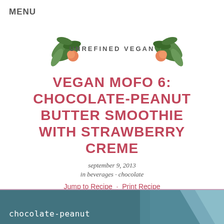MENU
[Figure (logo): Unrefined Vegan logo with botanical illustration of peach branches and text UNREFINED VEGAN]
VEGAN MOFO 6: CHOCOLATE-PEANUT BUTTER SMOOTHIE WITH STRAWBERRY CREME
september 9, 2013
in beverages · chocolate
Jump to Recipe  ·  Print Recipe
[Figure (photo): Partial photo of chocolate-peanut butter smoothie with strawberry creme, showing dark background with text overlay reading 'chocolate-peanut']